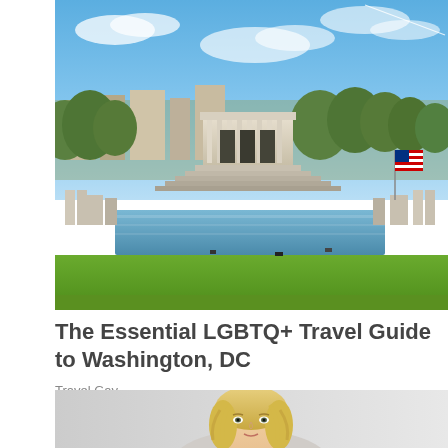[Figure (photo): Aerial view of the National Mall in Washington DC, showing the Lincoln Memorial, Reflecting Pool, WWII Memorial, surrounding green lawns, trees, and a blue sky with clouds. An American flag is visible on the right side.]
The Essential LGBTQ+ Travel Guide to Washington, DC
Travel Gay
[Figure (photo): Portrait photo of a blonde woman, cropped at the bottom of the page, showing head and upper shoulders against a light gray background.]